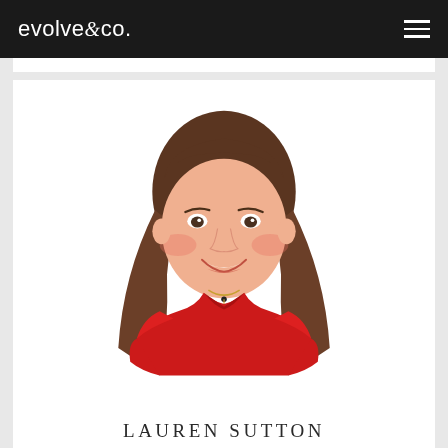evolve&co.
[Figure (photo): Portrait photo of Lauren Sutton, a young woman with long brown hair, smiling, wearing a red sleeveless top and a gold necklace, photographed against a white background.]
LAUREN SUTTON